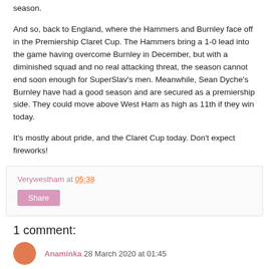season.
And so, back to England, where the Hammers and Burnley face off in the Premiership Claret Cup. The Hammers bring a 1-0 lead into the game having overcome Burnley in December, but with a diminished squad and no real attacking threat, the season cannot end soon enough for SuperSlav's men. Meanwhile, Sean Dyche's Burnley have had a good season and are secured as a premiership side. They could move above West Ham as high as 11th if they win today.
It's mostly about pride, and the Claret Cup today. Don't expect fireworks!
Verywestham at 05:38
Share
1 comment:
Anaminka 28 March 2020 at 01:45